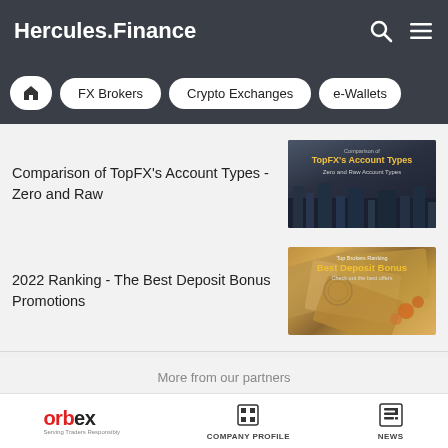Hercules.Finance
FX Brokers | Crypto Exchanges | e-Wallets
Comparison of TopFX's Account Types - Zero and Raw
[Figure (photo): Thumbnail image for TopFX Account Types article showing cityscape with yellow text overlay: TopFX's Account Types, Zero and Raw Account Types]
2022 Ranking - The Best Deposit Bonus Promotions
[Figure (photo): Thumbnail image for Best Deposit Bonus article showing US dollar bills with yellow text overlay: Best Deposit Bonus, Check out the best offers]
More from our partners
[Figure (logo): Orbex logo - red and black text with tagline Serving Traders Responsibly]
COMPANY PROFILE
NEWS